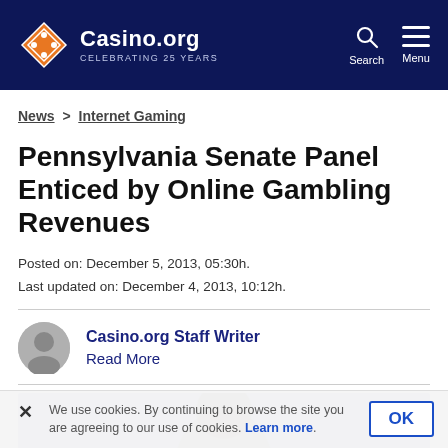Casino.org — CELEBRATING 25 YEARS
News > Internet Gaming
Pennsylvania Senate Panel Enticed by Online Gambling Revenues
Posted on: December 5, 2013, 05:30h.
Last updated on: December 4, 2013, 10:12h.
Casino.org Staff Writer
Read More
[Figure (photo): Article photo showing a person, partially visible, against a blue-grey background]
We use cookies. By continuing to browse the site you are agreeing to our use of cookies. Learn more.